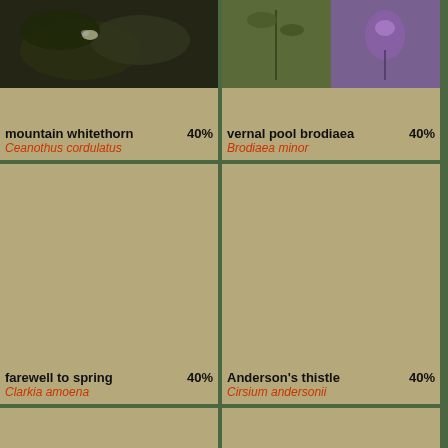[Figure (photo): Mountain whitethorn plant with insect, dark background]
mountain whitethorn 40%
Ceanothus cordulatus
[Figure (photo): Two photos side by side: vernal pool brodiaea plant (left green, right purple flowers)]
vernal pool brodiaea 40%
Brodiaea minor
[Figure (photo): Farewell to spring (Clarkia amoena) - blank/loading placeholder]
farewell to spring 40%
Clarkia amoena
[Figure (photo): Anderson's thistle (Cirsium andersonii) - blank/loading placeholder]
Anderson's thistle 40%
Cirsium andersonii
[Figure (photo): Western pasqueflower - blank/loading placeholder]
western pasqueflower 40%
Anemone occidentalis
[Figure (photo): Mock leopardbane - blank/loading placeholder]
mock leopardbane 40%